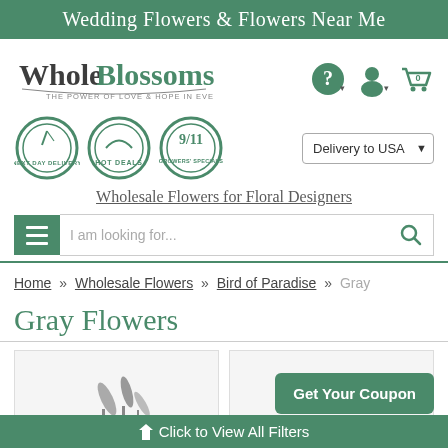Wedding Flowers & Flowers Near Me
[Figure (logo): Whole Blossoms logo with tagline THE POWER OF LOVE & HOPE IN EVERY BLOOM]
[Figure (infographic): Three circular badges: Next Day Delivery, Hot Deals, and 9/11 Growers' Specials]
Delivery to USA
Wholesale Flowers for Floral Designers
I am looking for...
Home » Wholesale Flowers » Bird of Paradise » Gray
Gray Flowers
Get Your Coupon
Click to View All Filters